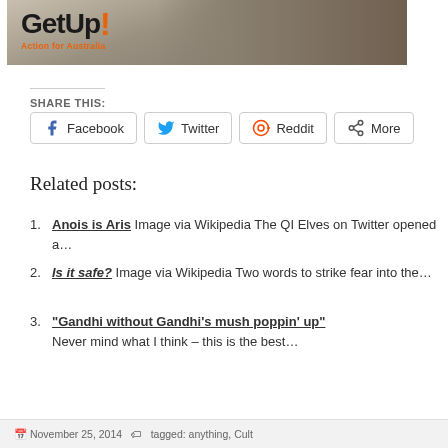[Figure (logo): GetUp! Action for Australia banner logo with person in plaid shirt in background]
SHARE THIS:
Facebook   Twitter   Reddit   More
Related posts:
1. Anois is Aris Image via Wikipedia The QI Elves on Twitter opened a…
2. Is it safe? Image via Wikipedia Two words to strike fear into the…
3. "Gandhi without Gandhi's mush poppin' up" Never mind what I think – this is the best…
November 25, 2014  ·  tagged: anything, Cult